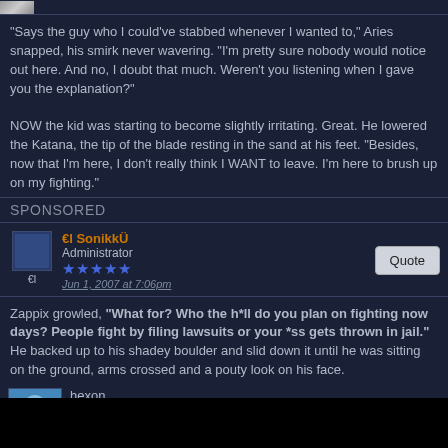[Figure (photo): Small avatar image at top, partially visible]
"Says the guy who I could've stabbed whenever I wanted to," Aries snapped, his smirk never wavering. "I'm pretty sure nobody would notice out here. And no, I doubt that much. Weren't you listening when I gave you the explanation?"
NOW the kid was starting to become slightly irritating. Great. He lowered the Katana, the tip of the blade resting in the sand at his feet. "Besides, now that I'm here, I don't really think I WANT to leave. I'm here to brush up on my fighting."
SPONSORED
[Figure (photo): Small avatar placeholder for El SonikkU]
€l SonikkÜ
Administrator
★★★★★
Jun 1, 2007 at 7:06pm
Quote
Zappix growled, "What for? Who the h*ll do you plan on fighting now days? People fight by filing lawsuits or your *ss gets thrown in jail." He backed up to his shadey boulder and slid down it until he was sitting on the ground, arms crossed and a pouty look on his face.
[Figure (photo): Avatar for hexon]
hexon
Jun 1, 2007 at 7:10pm
Quote